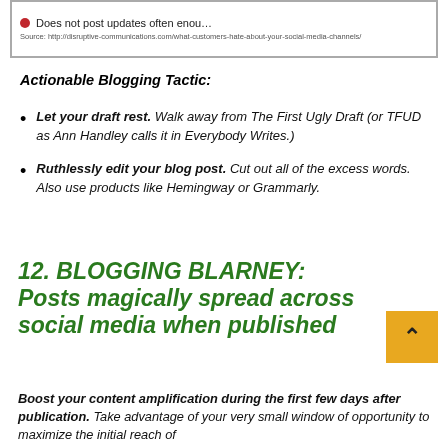[Figure (screenshot): Screenshot snippet showing a red dot bullet point with text 'Does not post updates often enou...' and source URL below]
Actionable Blogging Tactic:
Let your draft rest. Walk away from The First Ugly Draft (or TFUD as Ann Handley calls it in Everybody Writes.)
Ruthlessly edit your blog post. Cut out all of the excess words. Also use products like Hemingway or Grammarly.
12. BLOGGING BLARNEY: Posts magically spread across social media when published
Boost your content amplification during the first few days after publication. Take advantage of your very small window of opportunity to maximize the initial reach of